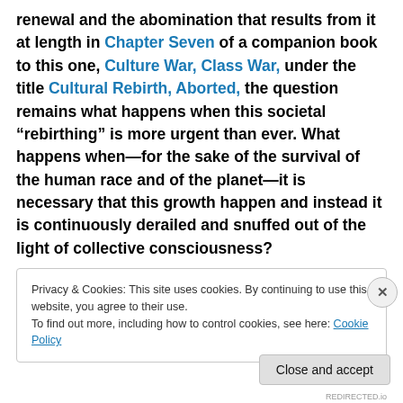renewal and the abomination that results from it at length in Chapter Seven of a companion book to this one, Culture War, Class War, under the title Cultural Rebirth, Aborted, the question remains what happens when this societal “rebirthing” is more urgent than ever. What happens when—for the sake of the survival of the human race and of the planet—it is necessary that this growth happen and instead it is continuously derailed and snuffed out of the light of collective consciousness?
Privacy & Cookies: This site uses cookies. By continuing to use this website, you agree to their use.
To find out more, including how to control cookies, see here: Cookie Policy